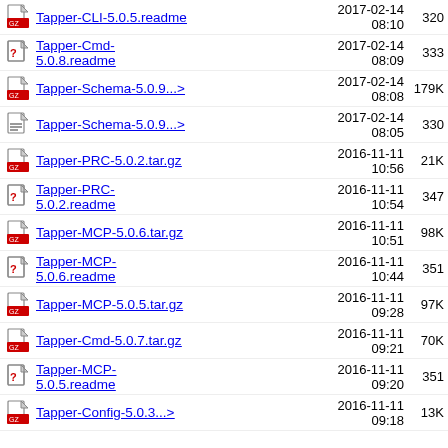Tapper-CLI-5.0.5.readme | 2017-02-14 08:10 | 320
Tapper-Cmd-5.0.8.readme | 2017-02-14 08:09 | 333
Tapper-Schema-5.0.9...> | 2017-02-14 08:08 | 179K
Tapper-Schema-5.0.9...> | 2017-02-14 08:05 | 330
Tapper-PRC-5.0.2.tar.gz | 2016-11-11 10:56 | 21K
Tapper-PRC-5.0.2.readme | 2016-11-11 10:54 | 347
Tapper-MCP-5.0.6.tar.gz | 2016-11-11 10:51 | 98K
Tapper-MCP-5.0.6.readme | 2016-11-11 10:44 | 351
Tapper-MCP-5.0.5.tar.gz | 2016-11-11 09:28 | 97K
Tapper-Cmd-5.0.7.tar.gz | 2016-11-11 09:21 | 70K
Tapper-MCP-5.0.5.readme | 2016-11-11 09:20 | 351
Tapper-Config-5.0.3...> | 2016-11-11 09:18 | 13K